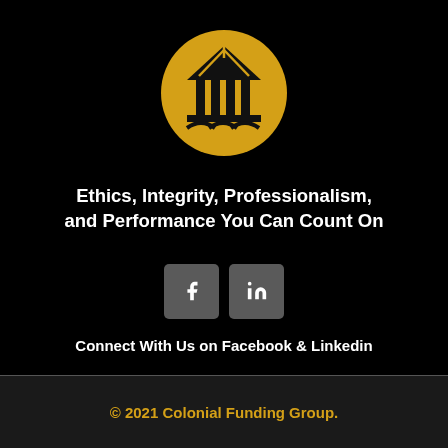[Figure (logo): Colonial Funding Group logo: golden circle with a house/building icon featuring pillars and a curved base]
Ethics, Integrity, Professionalism, and Performance You Can Count On
[Figure (other): Two social media buttons: Facebook (f) and LinkedIn (in) in gray rounded-rectangle buttons]
Connect With Us on Facebook & Linkedin
© 2021 Colonial Funding Group.